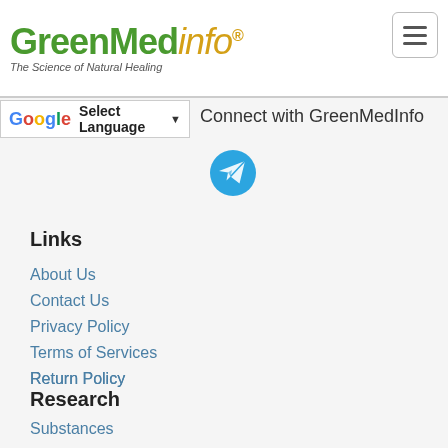GreenMedInfo® - The Science of Natural Healing
Select Language
Connect with GreenMedInfo
[Figure (illustration): Telegram messenger icon - blue circle with white paper plane]
Links
About Us
Contact Us
Privacy Policy
Terms of Services
Return Policy
Corrections
FAQ
Write For Us
Research
Substances